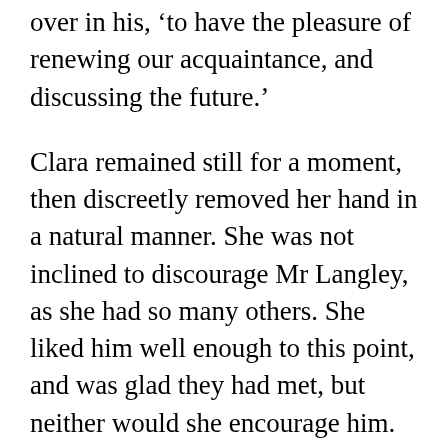over in his, ‘to have the pleasure of renewing our acquaintance, and discussing the future.’
Clara remained still for a moment, then discreetly removed her hand in a natural manner. She was not inclined to discourage Mr Langley, as she had so many others. She liked him well enough to this point, and was glad they had met, but neither would she encourage him. Cautious by nature, she would not commit beyond what short acquaintance dictated. She nodded, replying that she would, of course, be pleased to see